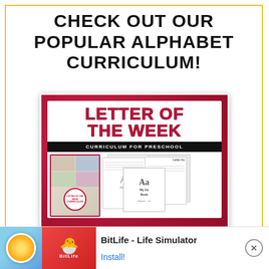CHECK OUT OUR POPULAR ALPHABET CURRICULUM!
[Figure (illustration): Letter of the Week Curriculum for Preschool product cover image showing the curriculum book and sample worksheet pages including letter Aa tracing and My Aa Book activities]
[Figure (screenshot): Advertisement banner for BitLife - Life Simulator app showing game icon, app icon, app name, and Install button]